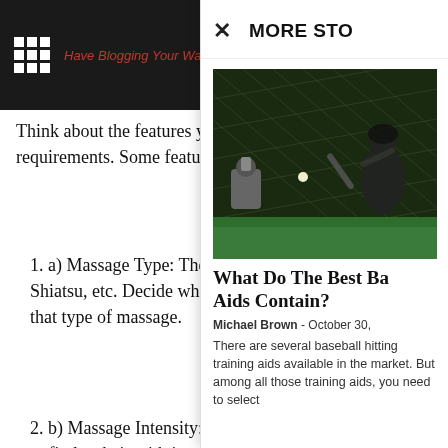Have Blogging Your Way...
Think about the features you want in a find a model that meets those requirements. Some features to check are:
1. a) Massage Type: There are many types of massage, such as Swedish, Shiatsu, etc. Decide what type of massage you want, and find a chair that offers that type of massage.
2. b) Massage Intensity: Do you want a gentle or more intense one? You'll need to find a chair with intensity settings to get the perfect massage.
3. c) Chair Size: Make sure to find a chair that is right for you. You don't want to be cramped or uncomfortable while getting a massage.
4. d) Other Features: Some chairs MP players, and other features. Consider what other features you want in a massage chair, and then find a model that
MORE STORIES
[Figure (photo): Person batting in a baseball cage indoor facility]
What Do The Best Baseball Hitting Aids Contain?
Michael Brown - October 30,
There are several baseball hitting training aids available in the market. But among all those training aids, you need to select